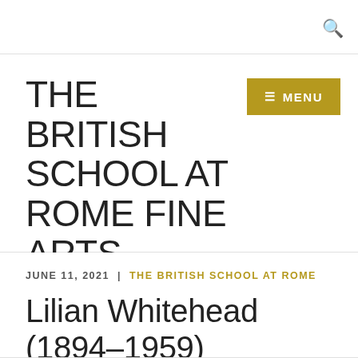THE BRITISH SCHOOL AT ROME FINE ARTS ARCHIVE
JUNE 11, 2021 | THE BRITISH SCHOOL AT ROME
Lilian Whitehead (1894–1959)